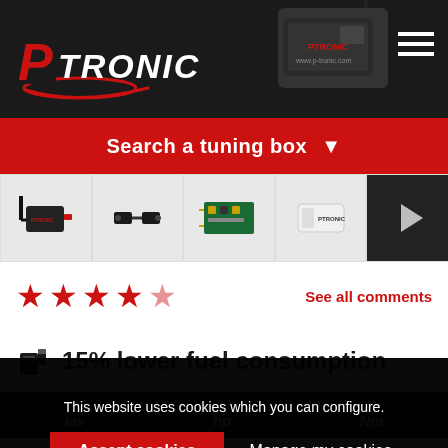[Figure (screenshot): Ptronic website header with logo on dark background, device image top right, hamburger menu]
Search a tuning box ▼
[Figure (photo): Row of 5 product thumbnails: tuning box with cable, connector plugs, circuit board, white device, video thumbnail]
★★★★☆ See all comments
15% lower fuel consumption
kw   hp   Nm
This website uses cookies which you can configure.
Accept cookies
Manage my cookies